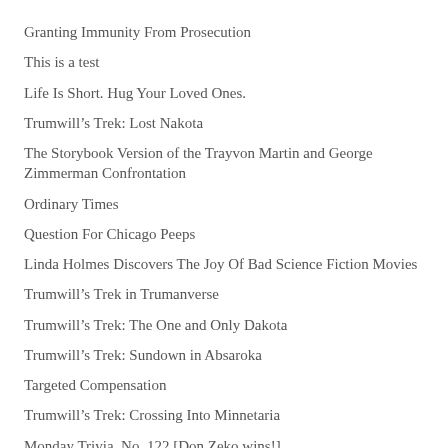Granting Immunity From Prosecution
This is a test
Life Is Short. Hug Your Loved Ones.
Trumwill’s Trek: Lost Nakota
The Storybook Version of the Trayvon Martin and George Zimmerman Confrontation
Ordinary Times
Question For Chicago Peeps
Linda Holmes Discovers The Joy Of Bad Science Fiction Movies
Trumwill’s Trek in Trumanverse
Trumwill’s Trek: The One and Only Dakota
Trumwill’s Trek: Sundown in Absaroka
Targeted Compensation
Trumwill’s Trek: Crossing Into Minnetaria
Monday Trivia, No. 122 [Don Zeko wins!]